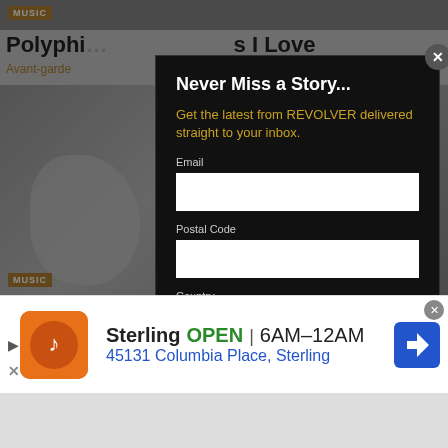[Figure (screenshot): Background website content showing a music article page with a gray header image and article title partially visible]
Never Miss a Story...
Get the latest from REVOLVER delivered straight to your inbox.
Email
Postal Code
Country
Afghanistan
[Figure (screenshot): Advertisement banner for Sterling restaurant showing orange logo, OPEN status, hours 6AM-12AM, address 45131 Columbia Place Sterling, with blue navigation arrow icon]